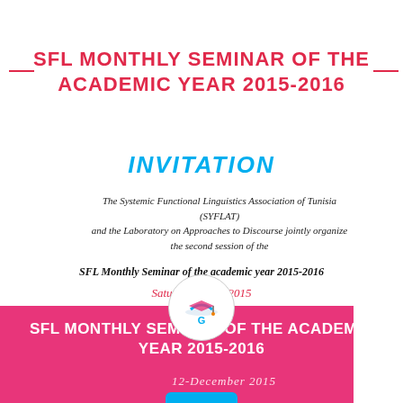SFL MONTHLY SEMINAR OF THE ACADEMIC YEAR 2015-2016
[Figure (illustration): Colorful diagonal rainbow stripe graphic on left side of invitation card]
INVITATION
The Systemic Functional Linguistics Association of Tunisia (SYFLAT) and the Laboratory on Approaches to Discourse jointly organize the second session of the
SFL Monthly Seminar of the academic year 2015-2016
Saturday [date partially obscured], 2015
[Figure (logo): Circular logo with stylized G and graduation cap icon]
SFL MONTHLY SEMINAR OF THE ACADEMIC YEAR 2015-2016
12-December 2015